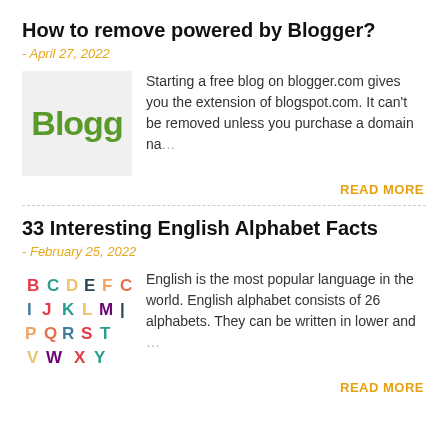How to remove powered by Blogger?
- April 27, 2022
[Figure (illustration): Blogger logo thumbnail showing 'Blogg' in green text on light gray background]
Starting a free blog on blogger.com gives you the extension of blogspot.com. It can't be removed unless you purchase a domain na...
READ MORE
33 Interesting English Alphabet Facts
- February 25, 2022
[Figure (illustration): Colorful alphabet letters thumbnail showing letters B C D E F C I J K L M P Q R S T V W X Y in various colors]
English is the most popular language in the world. English alphabet consists of 26 alphabets. They can be written in lower and ...
READ MORE